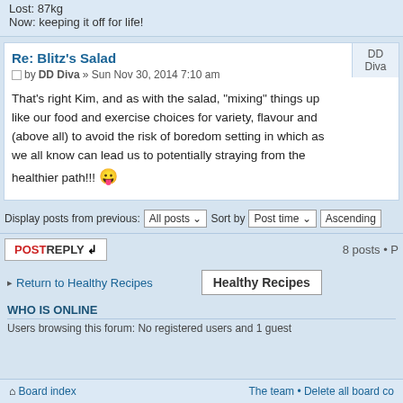Lost: 87kg
Now: keeping it off for life!
Re: Blitz's Salad
by DD Diva » Sun Nov 30, 2014 7:10 am
That's right Kim, and as with the salad, "mixing" things up like our food and exercise choices for variety, flavour and (above all) to avoid the risk of boredom setting in which as we all know can lead us to potentially straying from the healthier path!!!
Display posts from previous: All posts  Sort by  Post time  Ascending
POSTREPLY   8 posts • P
• Return to Healthy Recipes
Healthy Recipes
WHO IS ONLINE
Users browsing this forum: No registered users and 1 guest
Board index   The team • Delete all board co